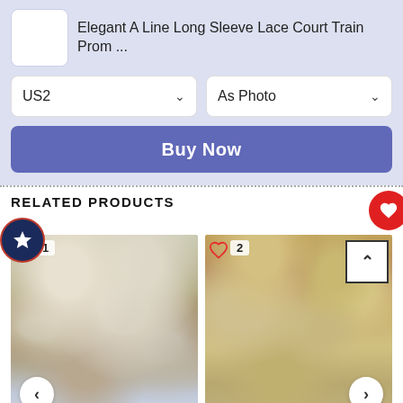Elegant A Line Long Sleeve Lace Court Train Prom ...
US2
As Photo
Buy Now
RELATED PRODUCTS
[Figure (photo): Woman in backless light blue/grey ball gown standing in front of white flower wall, item number 1]
[Figure (photo): Two women wearing sparkly silver sequin dresses, item number 2, with scroll-up button]